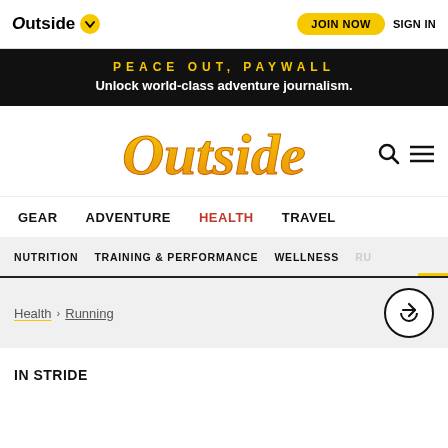Outside | JOIN NOW | SIGN IN
PEACE OUT, PAYWALL
Unlock world-class adventure journalism.
[Figure (logo): Outside magazine main logo in yellow/orange script]
GEAR   ADVENTURE   HEALTH   TRAVEL
NUTRITION   TRAINING & PERFORMANCE   WELLNESS   RU...
Health > Running
IN STRIDE